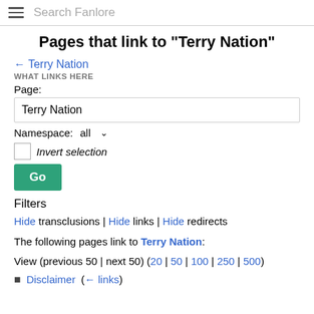Search Fanlore
Pages that link to "Terry Nation"
← Terry Nation
WHAT LINKS HERE
Page:
Terry Nation
Namespace:  all
Invert selection
Go
Filters
Hide transclusions | Hide links | Hide redirects
The following pages link to Terry Nation:
View (previous 50 | next 50) (20 | 50 | 100 | 250 | 500)
Disclaimer  (← links)